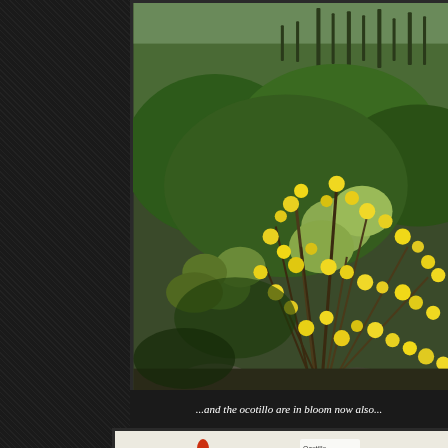[Figure (photo): Desert landscape photo showing yellow wildflowers blooming in the foreground with green desert shrubs, cacti (saguaro and prickly pear), and a hillside covered with saguaro cacti in the background]
...and the ocotillo are in bloom now also...
[Figure (photo): Partial photo showing an ocotillo plant with red blooms at the tip, mountains in background, on a light/cream background]